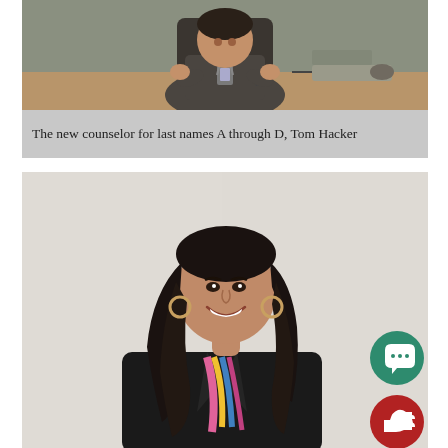[Figure (photo): Photo of Tom Hacker, a male counselor wearing dark clothing and a lanyard/badge, seated at a desk in an office setting with a brown leather chair and desk with keyboard visible.]
The new counselor for last names A through D, Tom Hacker
[Figure (photo): Photo of a woman with long dark hair, smiling, wearing a black blazer with a colorful lanyard/scarf, standing against a light-colored wall background.]